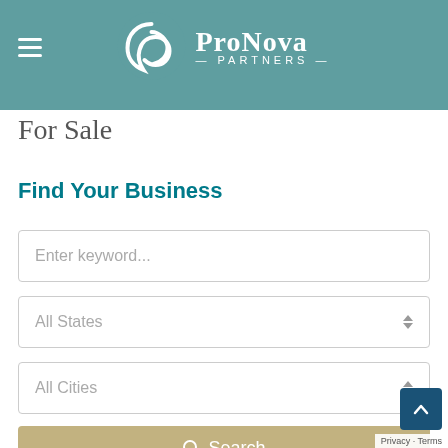[Figure (logo): ProNova Partners logo with teal swirl icon and white text on teal header bar]
For Sale
Find Your Business
Enter keyword...
All States
All Cities
Search